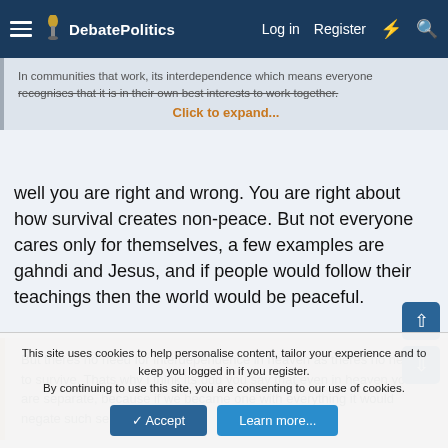DebatePolitics | Log in | Register
In communities that work, its interdependence which means everyone recognises that it is in their own best interests to work together.
Click to expand...
well you are right and wrong. You are right about how survival creates non-peace. But not everyone cares only for themselves, a few examples are gahndi and Jesus, and if people would follow their teachings then the world would be peaceful.
But theres no need for interdependence in heaven as theres no need to survive. Thats why i think its odd you say that even in heaven you are separate, because if we became one with everything it would negate such separateness.
This site uses cookies to help personalise content, tailor your experience and to keep you logged in if you register.
By continuing to use this site, you are consenting to our use of cookies.